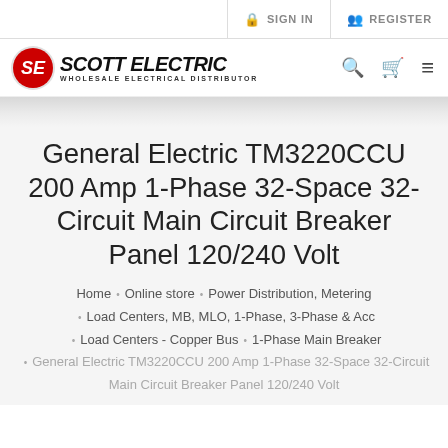SIGN IN  REGISTER
[Figure (logo): Scott Electric - Wholesale Electrical Distributor logo with SE emblem in red circle]
General Electric TM3220CCU 200 Amp 1-Phase 32-Space 32-Circuit Main Circuit Breaker Panel 120/240 Volt
Home • Online store • Power Distribution, Metering • Load Centers, MB, MLO, 1-Phase, 3-Phase & Acc • Load Centers - Copper Bus • 1-Phase Main Breaker • General Electric TM3220CCU 200 Amp 1-Phase 32-Space 32-Circuit Main Circuit Breaker Panel 120/240 Volt